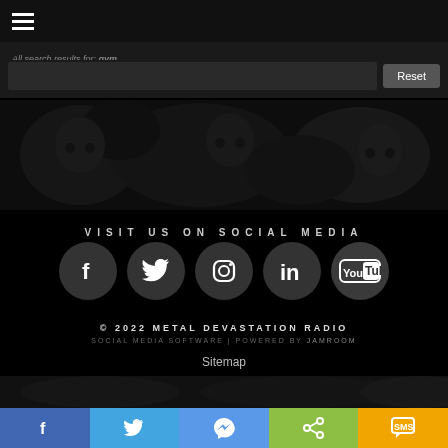[Figure (screenshot): Hamburger menu icon (three horizontal lines) on dark navigation bar]
All search results for: gym
[Figure (photo): Dark metal art image with skulls and dark imagery]
VISIT US ON SOCIAL MEDIA
[Figure (infographic): Social media icons: Facebook, Twitter, Instagram, LinkedIn, YouTube — each in a dark gray circle]
© 2022 METAL DEVASTATION RADIO
SOCIAL MEDIA SOFTWARE | POWERED BY JAMROOM
Sitemap
[Figure (photo): Dark metal art strip at bottom]
[Figure (infographic): Share bar with Facebook, Twitter, Messenger, share, and SMS buttons]